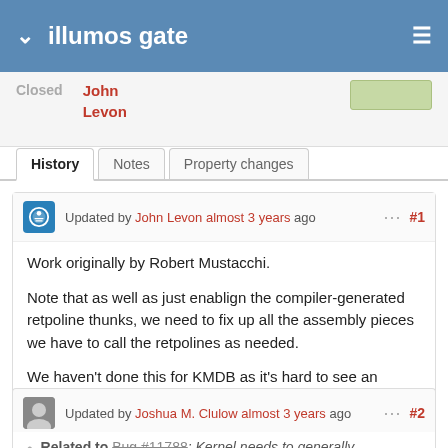illumos gate
Closed  John Levon
History | Notes | Property changes
Updated by John Levon almost 3 years ago  #1
Work originally by Robert Mustacchi.

Note that as well as just enablign the compiler-generated retpoline thunks, we need to fix up all the assembly pieces we have to call the retpolines as needed.

We haven't done this for KMDB as it's hard to see an attack vector, and it's not really worth it.
Updated by Joshua M. Clulow almost 3 years ago  #2
Related to Bug #11788: Kernel needs to generally use RSB stuffing added